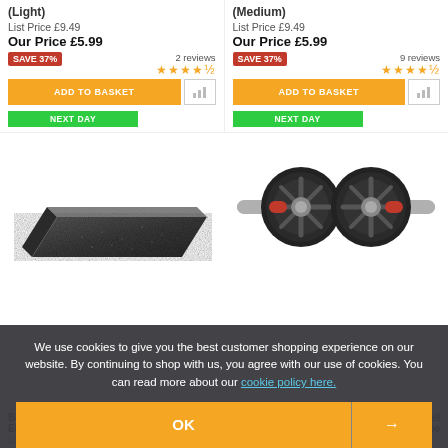(Light)
(Medium)
List Price £9.49
Our Price £5.99
List Price £9.49
Our Price £5.99
SAVE 37%
2 reviews
SAVE 37%
9 reviews
ADD TO BASKET
NEXT DAY
ADD TO BASKET
NEXT DAY
[Figure (photo): Black foam/rubber exercise mat]
[Figure (photo): Ab wheel roller with red handles and dual black wheels]
We use cookies to give you the best customer shopping experience on our website. By continuing to shop with us, you agree with our use of cookies. You can read more about our cookie policy here.
OK
→
Body Power 15mm Flo... Edge x1 - Black with
List Price £12.99
...um Ab Wheel
Our Price £5.99